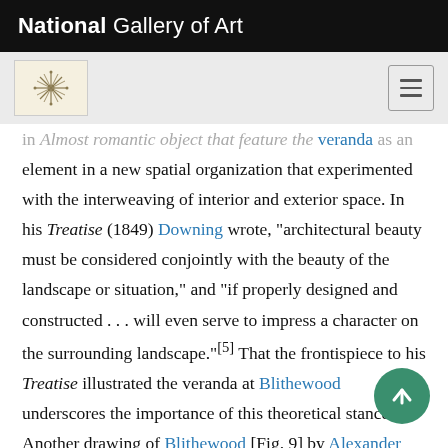National Gallery of Art
... Almost romantic object that feature the veranda as an element in a new spatial organization that experimented with the interweaving of interior and exterior space. In his Treatise (1849) Downing wrote, "architectural beauty must be considered conjointly with the beauty of the landscape or situation," and "if properly designed and constructed . . . will even serve to impress a character on the surrounding landscape."[5] That the frontispiece to his Treatise illustrated the veranda at Blithewood underscores the importance of this theoretical stance. Another drawing of Blithewood [Fig. 9] by Alexander Jackson Davis presented, from the house and through the semi-enclosed space of the veranda, the view of the landscape toward the